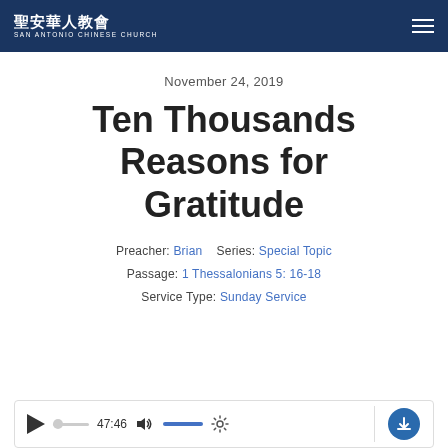聖安華人教會 SAN ANTONIO CHINESE CHURCH
November 24, 2019
Ten Thousands Reasons for Gratitude
Preacher: Brian    Series: Special Topic
Passage: 1 Thessalonians 5: 16-18
Service Type: Sunday Service
[Figure (other): Audio player bar with play button, progress track, time display 47:46, volume control with blue slider, gear/settings icon, divider, and download button]